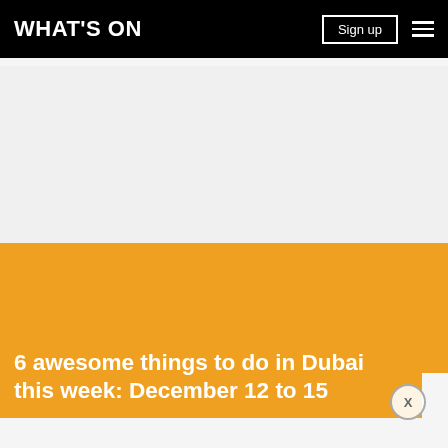WHAT'S ON
[Figure (photo): Large hero image area, partially orange/light grey, used as background for article. Bottom portion shows orange color band.]
6 awesome things to do in Dubai this week: December 12 to 15